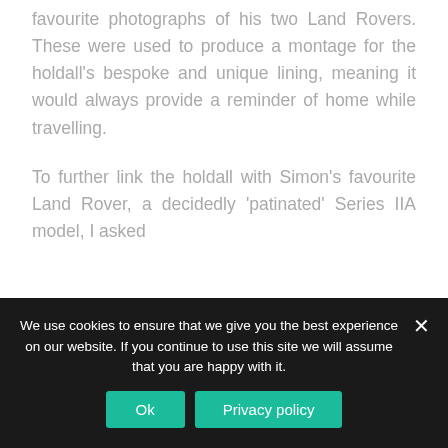favourite photographs of his two Land Rovers. These were used to produce a montage for the holdall's bespoke and unique lining, meaning it would always provide a reminder of home while travelling.
To further link the holdall with Simon's favourite Land Rover, a decidedly 'patinated' Series IIA model, I asked
We use cookies to ensure that we give you the best experience on our website. If you continue to use this site we will assume that you are happy with it.